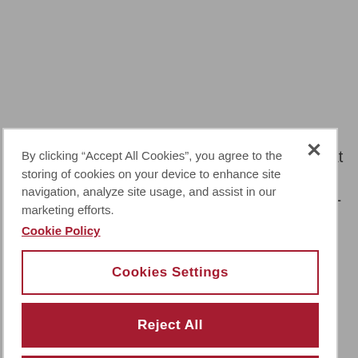[Figure (logo): University of Nicosia logo and navigation bar with hamburger menu on dark grey background]
leaders. The University of Nicosia aims in ensuring that its students acquire the appropriate management knowledge necessary and an in-depth understanding of all major business areas. Through the...
By clicking “Accept All Cookies”, you agree to the storing of cookies on your device to enhance site navigation, analyze site usage, and assist in our marketing efforts.
Cookie Policy
Cookies Settings
Reject All
Accept All Cookies